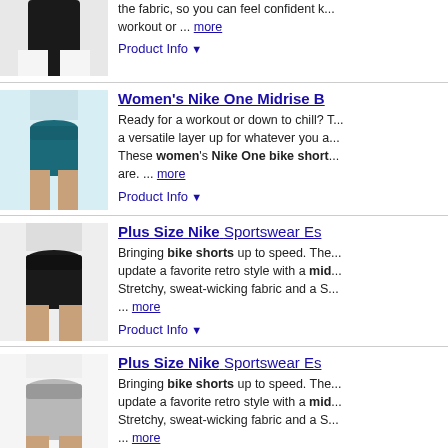[Figure (photo): Product image of black Nike bike shorts worn on a model, partially visible at top]
the fabric, so you can feel confident k... workout or ... more
Product Info ▼
[Figure (photo): Product image of teal/blue Women's Nike One Midrise bike shorts worn on a model]
Women's Nike One Midrise B...
Ready for a workout or down to chill? This is a versatile layer up for whatever you a... These women's Nike One bike short... are. ... more
Product Info ▼
[Figure (photo): Product image of black Plus Size Nike Sportswear Essentials bike shorts worn on a model]
Plus Size Nike Sportswear Es...
Bringing bike shorts up to speed. The... update a favorite retro style with a mid... Stretchy, sweat-wicking fabric and a S... ... more
Product Info ▼
[Figure (photo): Product image of grey Plus Size Nike Sportswear Essentials bike shorts worn on a model]
Plus Size Nike Sportswear Es...
Bringing bike shorts up to speed. The... update a favorite retro style with a mid... Stretchy, sweat-wicking fabric and a S... ... more
Product Info ▼
[Figure (photo): Product image of black Plus Size Nike Sportswear Essentials bike shorts worn on a model, partially visible at bottom]
Plus Size Nike Sportswear Es...
Bringing bike shorts up to speed. The... update a favorite retro style with a mid...